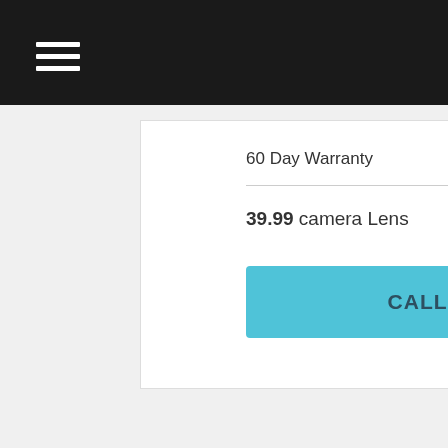60 Day Warranty
39.99  camera Lens
CALL 404.259.0183